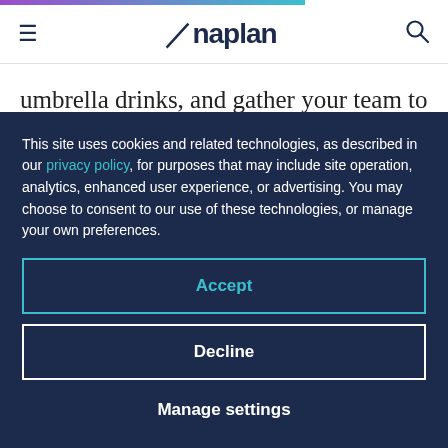Anaplan
umbrella drinks, and gather your team to make sure the key partners involved in building the model are on the same page. This will ensure that everyone uses familiar terminology and that
This site uses cookies and related technologies, as described in our privacy policy, for purposes that may include site operation, analytics, enhanced user experience, or advertising. You may choose to consent to our use of these technologies, or manage your own preferences.
Accept
Decline
Manage settings